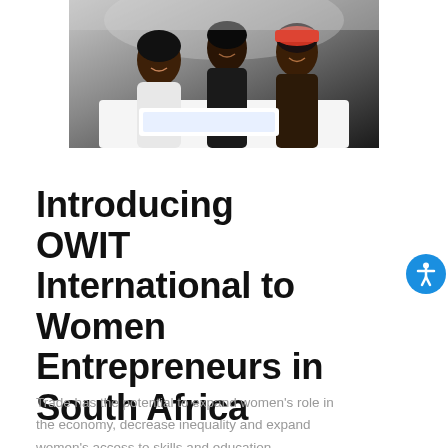[Figure (photo): Three women smiling and looking at something together, photographed from above, in a professional/educational setting.]
Introducing OWIT International to Women Entrepreneurs in South Africa
Trade has the potential to expand women's role in the economy, decrease inequality and expand women's access to skills and education.